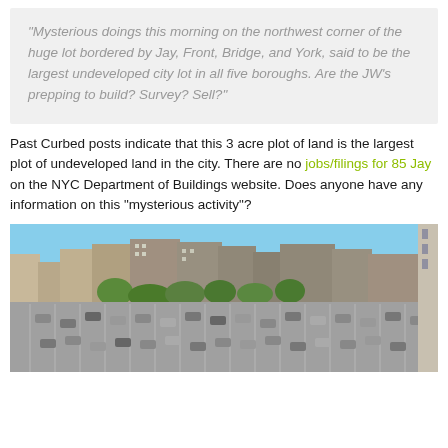“Mysterious doings this morning on the northwest corner of the huge lot bordered by Jay, Front, Bridge, and York, said to be the largest undeveloped city lot in all five boroughs. Are the JW’s prepping to build? Survey? Sell?”
Past Curbed posts indicate that this 3 acre plot of land is the largest plot of undeveloped land in the city. There are no jobs/filings for 85 Jay on the NYC Department of Buildings website. Does anyone have any information on this “mysterious activity”?
[Figure (photo): Aerial or elevated view of a large urban parking lot in New York City with city buildings and skyline in the background under a clear blue sky.]